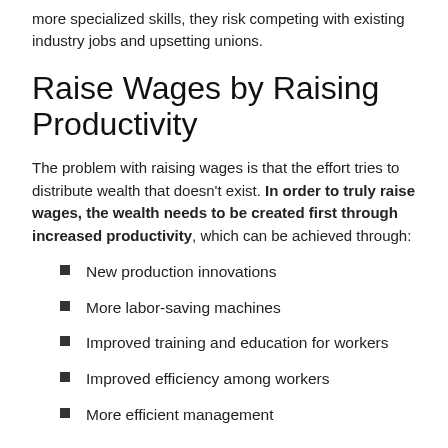more specialized skills, they risk competing with existing industry jobs and upsetting unions.
Raise Wages by Raising Productivity
The problem with raising wages is that the effort tries to distribute wealth that doesn’t exist. In order to truly raise wages, the wealth needs to be created first through increased productivity, which can be achieved through:
New production innovations
More labor-saving machines
Improved training and education for workers
Improved efficiency among workers
More efficient management